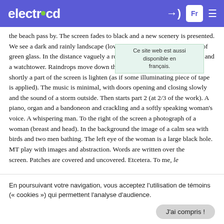electrocd  Fr
the beach pass by. The screen fades to black and a new scenery is presented. We see a dark and rainly landscape (low point of view) through a sheet of green glass. In the distance vaguely a row of trees is visible and a house and a watchtower. Raindrops move down the glass but also up. Sometimes shortly a part of the screen is lighten (as if some illuminating piece of tape is applied). The music is minimal, with doors opening and closing slowly and the sound of a storm outside. Then starts part 2 (at 2/3 of the work). A piano, organ and a bandoneon and crackling and a softly speaking woman's voice. A whispering man. To the right of the screen a photograph of a woman (breast and head). In the background the image of a calm sea with birds and two men bathing. The left eye of the woman is a large black hole. MT play with images and abstraction. Words are written over the screen. Patches are covered and uncovered. Etcetera. To me, le
Ce site web est aussi disponible en français.
En poursuivant votre navigation, vous acceptez l'utilisation de témoins (« cookies ») qui permettent l'analyse d'audience.
J'ai compris !